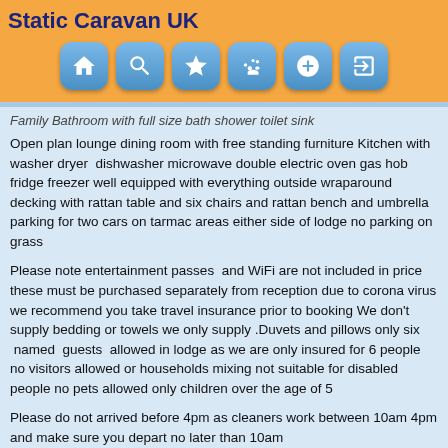Static Caravan UK
Family Bathroom with full size bath shower toilet sink
Open plan lounge dining room with free standing furniture Kitchen with washer dryer  dishwasher microwave double electric oven gas hob fridge freezer well equipped with everything outside wraparound decking with rattan table and six chairs and rattan bench and umbrella parking for two cars on tarmac areas either side of lodge no parking on grass
Please note entertainment passes  and WiFi are not included in price these must be purchased separately from reception due to corona virus we recommend you take travel insurance prior to booking We don't supply bedding or towels we only supply .Duvets and pillows only six  named  guests  allowed in lodge as we are only insured for 6 people no visitors allowed or households mixing not suitable for disabled people no pets allowed only children over the age of 5
Please do not arrived before 4pm as cleaners work between 10am 4pm and make sure you depart no later than 10am
There will be a cleaning charge if you arrive before cleaners ...Have